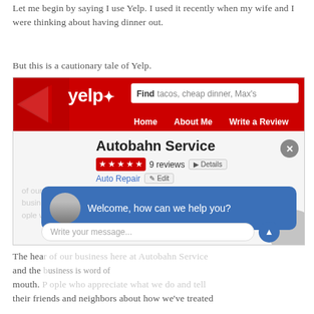Let me begin by saying I use Yelp. I used it recently when my wife and I were thinking about having dinner out.
But this is a cautionary tale of Yelp.
[Figure (screenshot): Screenshot of Yelp website showing 'Autobahn Service' business page with 5-star rating, 9 reviews, Auto Repair category, and a chat overlay saying 'Welcome, how can we help you?' with a message input field and a blurred business description.]
The heart of our business here at Autobahn Service and the business is word of mouth. People who appreciate what we do and tell their friends and neighbors about how we've treated them with our first class...